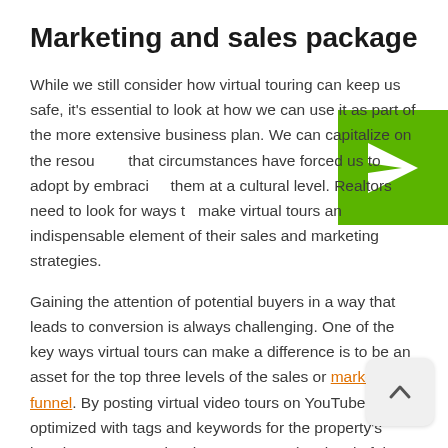Marketing and sales package
While we still consider how virtual touring can keep us safe, it's essential to look at how we can use it as part of the more extensive business plan. We can capitalize on the resources that circumstances have forced us to adopt by embracing them at a cultural level. Realtors need to look for ways to make virtual tours an indispensable element of their sales and marketing strategies.
[Figure (illustration): Green square icon with a white paper plane / send arrow symbol, positioned at top right corner of the page.]
Gaining the attention of potential buyers in a way that leads to conversion is always challenging. One of the key ways virtual tours can make a difference is to be an asset for the top three levels of the sales or marketing funnel. By posting virtual video tours on YouTube, optimized with tags and keywords for the property's location, you can raise the awareness (top level of the funnel) of prospective buyers and desire for the product (second and third levels of the funnel, respectively).
[Figure (illustration): Light grey rounded rectangle button with an upward-pointing chevron arrow, positioned at bottom right, functioning as a scroll-to-top button.]